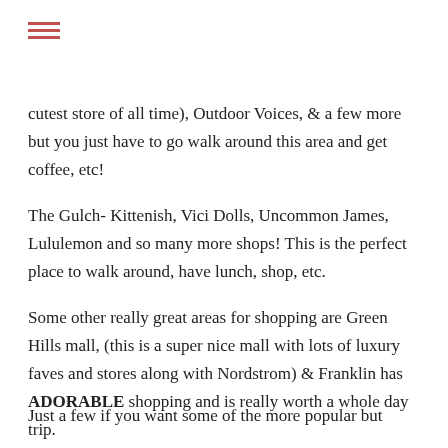cutest store of all time), Outdoor Voices, & a few more but you just have to go walk around this area and get coffee, etc!
The Gulch- Kittenish, Vici Dolls, Uncommon James, Lululemon and so many more shops! This is the perfect place to walk around, have lunch, shop, etc.
Some other really great areas for shopping are Green Hills mall, (this is a super nice mall with lots of luxury faves and stores along with Nordstrom) & Franklin has ADORABLE shopping and is really worth a whole day trip.
Just a few if you want some of the more popular but...